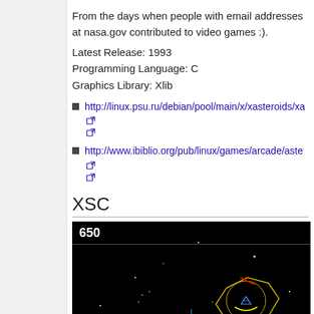From the days when people with email addresses at nasa.gov contributed to video games :).
Latest Release: 1993
Programming Language: C
Graphics Library: Xlib
http://linux.psu.ru/debian/pool/main/x/xasteroids/xa...
http://www.ibiblio.org/pub/linux/games/arcade/aste...
XSC
[Figure (screenshot): Screenshot of XSC game showing a space shooter game with score 650, a spaceship, asteroids, and colored vector graphics on a black background]